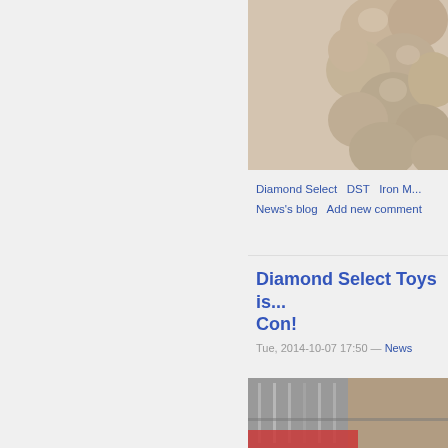[Figure (photo): Close-up photo of a bumpy sculptural object with beige/tan rounded forms, cropped at top-right of page]
Diamond Select   DST   Iron M...
News's blog   Add new comment
Diamond Select Toys is... Con!
Tue, 2014-10-07 17:50 — News
[Figure (photo): Photo of what appears to be a display or convention exhibit with metallic/glass structures, partially visible]